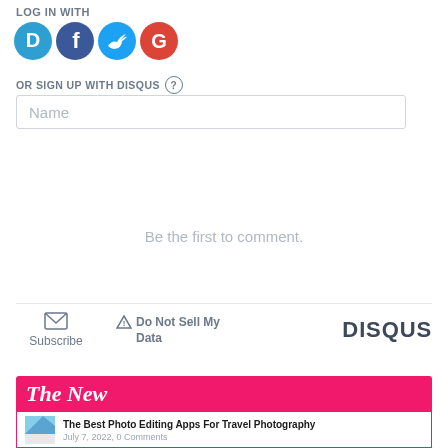LOG IN WITH
[Figure (infographic): Four social login icons: Disqus (blue speech bubble with D), Facebook (dark blue circle with f), Twitter (light blue circle with bird), Google (red circle with G)]
OR SIGN UP WITH DISQUS ?
Name
Be the first to comment.
[Figure (infographic): Footer bar with Subscribe (envelope icon), Do Not Sell My Data (warning icon), and DISQUS brand logo]
[Figure (infographic): The New banner in pink/red with article card: The Best Photo Editing Apps For Travel Photography, July 7, 2022, 0 Comments]